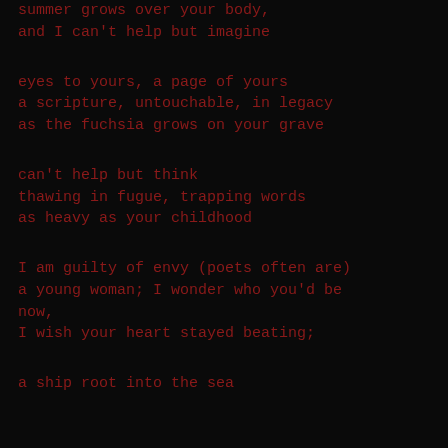summer grows over your body,
and I can't help but imagine

eyes to yours, a page of yours
a scripture, untouchable, in legacy
as the fuchsia grows on your grave

can't help but think
thawing in fugue, trapping words
as heavy as your childhood

I am guilty of envy (poets often are)
a young woman; I wonder who you'd be
now,
I wish your heart stayed beating;

a ship root into the sea